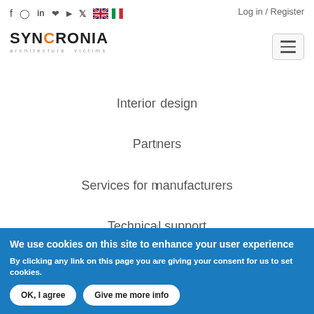Social icons, language flags, Log in / Register
[Figure (logo): SYNCRONIA architecture victims logo with orange C]
Interior design
Partners
Services for manufacturers
Technical support
We use cookies on this site to enhance your user experience
By clicking any link on this page you are giving your consent for us to set cookies.
OK, I agree | Give me more info